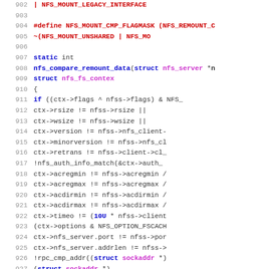[Figure (screenshot): Source code listing showing C code for NFS mount comparison, lines 902-928, with syntax highlighting: line numbers in gray, keywords in blue bold, preprocessor directives in red bold, type names in magenta bold, and plain identifiers in dark gray.]